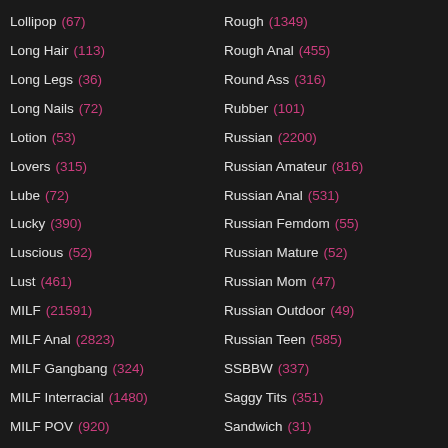Lollipop (67)
Long Hair (113)
Long Legs (36)
Long Nails (72)
Lotion (53)
Lovers (315)
Lube (72)
Lucky (390)
Luscious (52)
Lust (461)
MILF (21591)
MILF Anal (2823)
MILF Gangbang (324)
MILF Interracial (1480)
MILF POV (920)
MMF (417)
Rough (1349)
Rough Anal (455)
Round Ass (316)
Rubber (101)
Russian (2200)
Russian Amateur (816)
Russian Anal (531)
Russian Femdom (55)
Russian Mature (52)
Russian Mom (47)
Russian Outdoor (49)
Russian Teen (585)
SSBBW (337)
Saggy Tits (351)
Sandwich (31)
Satin (81)